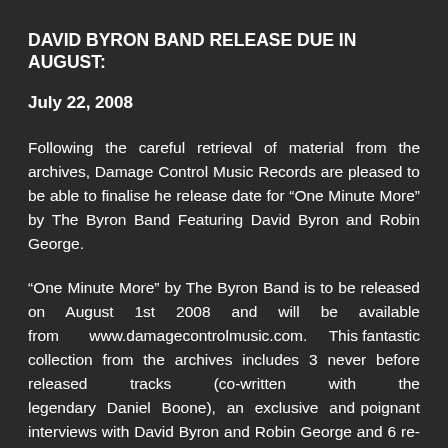DAVID BYRON BAND RELEASE DUE IN AUGUST:
July 22, 2008
Following the careful retrieval of material from the archives, Damage Control Music Records are pleased to be able to finalise he release date for “One Minute More” by The Byron Band Featuring David Byron and Robin George.
“One Minute More” by The Byron Band is to be released on August 1st 2008 and will be available from www.damagecontrolmusic.com. This fantastic collection from the archives includes 3 never before released tracks (co-written with the legendary Daniel Boone), an exclusive and poignant interviews with David Byron and Robin George and 6 re-mastered tracks from “On The…